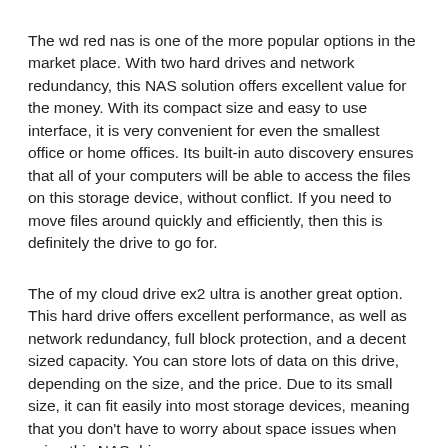The wd red nas is one of the more popular options in the market place. With two hard drives and network redundancy, this NAS solution offers excellent value for the money. With its compact size and easy to use interface, it is very convenient for even the smallest office or home offices. Its built-in auto discovery ensures that all of your computers will be able to access the files on this storage device, without conflict. If you need to move files around quickly and efficiently, then this is definitely the drive to go for.
The of my cloud drive ex2 ultra is another great option. This hard drive offers excellent performance, as well as network redundancy, full block protection, and a decent sized capacity. You can store lots of data on this drive, depending on the size, and the price. Due to its small size, it can fit easily into most storage devices, meaning that you don't have to worry about space issues when using this NAS drive.
The on 8tb ex2 ultra is also very popular. It offers great